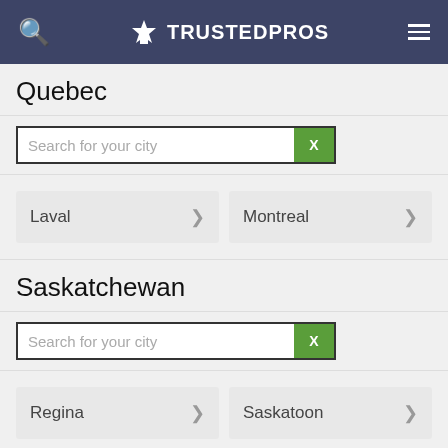TRUSTEDPROS
Quebec
Search for your city
Laval
Montreal
Saskatchewan
Search for your city
Regina
Saskatoon
Recent Reviews